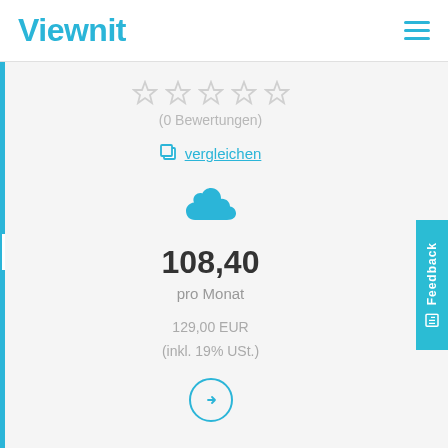Viewnit
[Figure (other): Five empty star rating icons in light grey]
(0 Bewertungen)
vergleichen
[Figure (illustration): Blue cloud icon]
108,40
pro Monat
129,00 EUR
(inkl. 19% USt.)
[Figure (other): Circular arrow button pointing right]